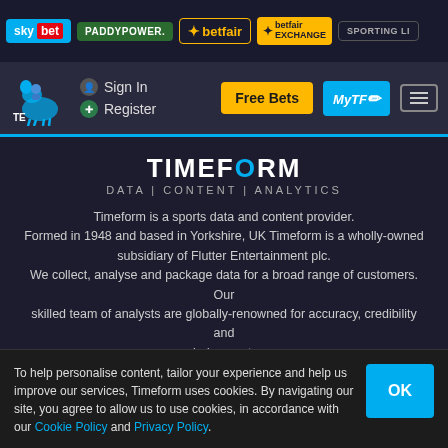[Figure (screenshot): Top navigation brand bar with Sky Bet, Paddy Power, Betfair, Betfair Exchange, Sporting Li logos]
[Figure (screenshot): Timeform site navigation bar with horse logo, Sign In, Register links, Free Bets button, MyTF button, menu icon]
TIMEFORM
DATA | CONTENT | ANALYTICS
Timeform is a sports data and content provider. Formed in 1948 and based in Yorkshire, UK Timeform is a wholly-owned subsidiary of Flutter Entertainment plc. We collect, analyse and package data for a broad range of customers. Our skilled team of analysts are globally-renowned for accuracy, credibility and judgement.
ASSOCIATED SITES
Ratings for horses in Australia from Racing and Sports
To help personalise content, tailor your experience and help us improve our services, Timeform uses cookies. By navigating our site, you agree to allow us to use cookies, in accordance with our Cookie Policy and Privacy Policy.